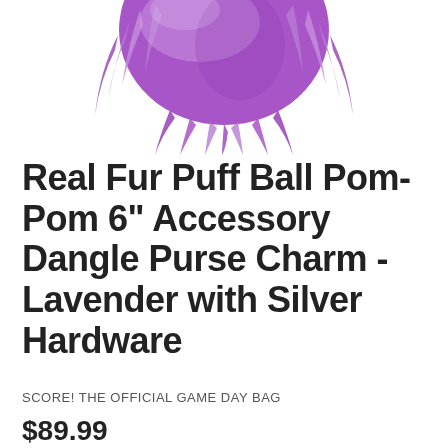[Figure (photo): Purple/lavender fur pom-pom ball at the top of the page, partially cropped, showing fluffy faux or real fur in shades of purple and lavender against a white background.]
Real Fur Puff Ball Pom-Pom 6" Accessory Dangle Purse Charm - Lavender with Silver Hardware
SCORE! THE OFFICIAL GAME DAY BAG
$89.99